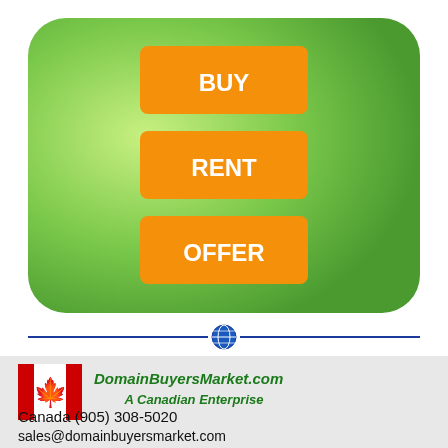[Figure (infographic): Green rounded rectangle with three orange buttons labeled BUY, RENT, OFFER stacked vertically]
[Figure (infographic): Horizontal divider line with globe icon in center]
[Figure (infographic): Canadian flag image]
DomainBuyersMarket.com
A Canadian Enterprise
Canada (905) 308-5020
sales@domainbuyersmarket.com